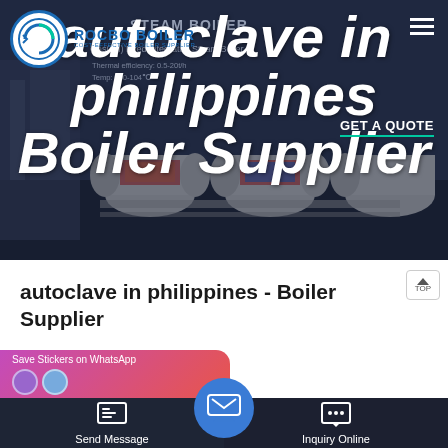[Figure (screenshot): Website screenshot showing ROCBO BOILER company website with hero banner image of industrial boilers in background]
autoclave in philippines Boiler Supplier
autoclave in philippines - Boiler Supplier
Save Stickers on WhatsApp
Send Message
Inquiry Online